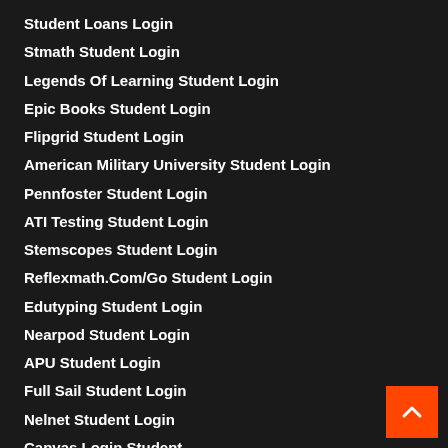Student Loans Login
Stmath Student Login
Legends Of Learning Student Login
Epic Books Student Login
Flipgrid Student Login
American Military University Student Login
Pennfoster Student Login
ATI Testing Student Login
Stemscopes Student Login
Reflexmath.Com/Go Student Login
Edutyping Student Login
Nearpod Student Login
APU Student Login
Full Sail Student Login
Nelnet Student Login
Canvas Login Student
Ashford University Student Login
Canella Student Login